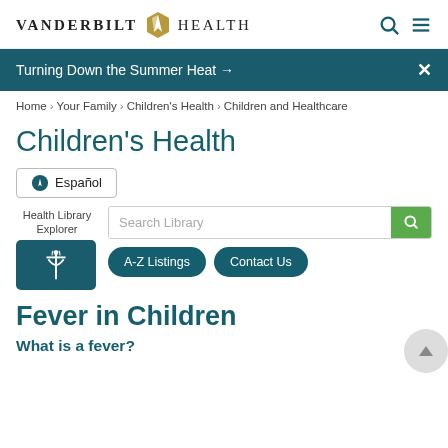VANDERBILT HEALTH
Turning Down the Summer Heat →
Home > Your Family > Children's Health > Children and Healthcare
Children's Health
Español
Health Library Explorer
Search Library
A-Z Listings   Contact Us
Fever in Children
What is a fever?